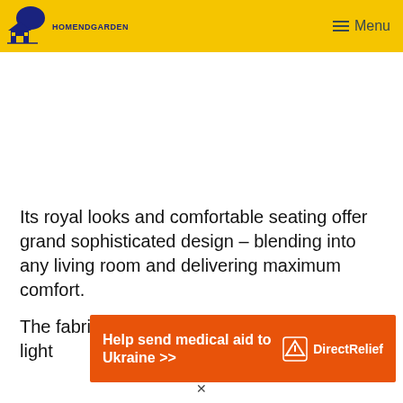HOMENDGARDEN | Menu
[Figure (other): White advertisement space / placeholder area]
Its royal looks and comfortable seating offer grand sophisticated design – blending into any living room and delivering maximum comfort.
The fabric in this model features a neutral light
[Figure (other): Orange advertisement banner: Help send medical aid to Ukraine >> | Direct Relief logo]